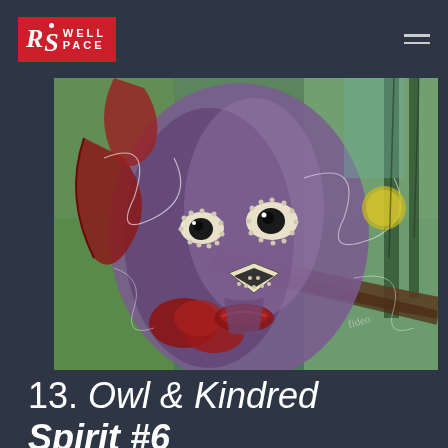RoSwell Space
[Figure (photo): Abstract expressionist painting of an owl-like face with large decorative eyes, stylized features, and colorful background in greens, purples, and earth tones]
13. Owl & Kindred Spirit #6